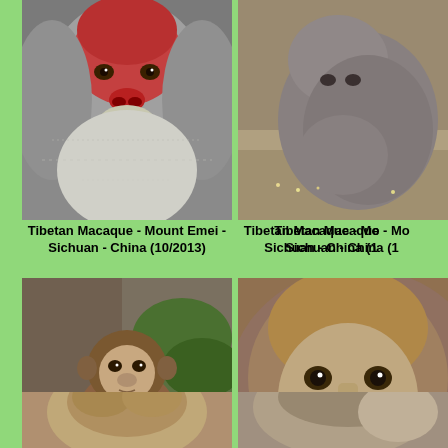[Figure (photo): Close-up photo of a Tibetan Macaque face with reddish/pink facial skin and grey fur, taken at Mount Emei, Sichuan, China in October 2013]
Tibetan Macaque - Mount Emei - Sichuan - China (10/2013)
[Figure (photo): Photo of a Tibetan Macaque curled up, viewed from above/behind, at Mount Emei, Sichuan, China in October 2013 (partially cropped on right)]
Tibetan Macaque - Mount Emei - Sichuan - China (10/2013)
[Figure (photo): Full body photo of a Tibetan Macaque sitting upright among rocks and green ferns at Mount Emei, Sichuan, China in October 2013]
Tibetan Macaque - Mount Emei - Sichuan - China (10/2013)
[Figure (photo): Close-up face photo of a Tibetan Macaque with brown fur, at Mount Emei, Sichuan, China in October 2013 (partially cropped on right)]
Tibetan Macaque - Mount Emei - Sichuan - China (10/2013)
[Figure (photo): Partial photo of a Tibetan Macaque (bottom of page, cropped), at Mount Emei, Sichuan, China]
[Figure (photo): Partial photo of a Tibetan Macaque (bottom right of page, cropped), at Mount Emei, Sichuan, China]